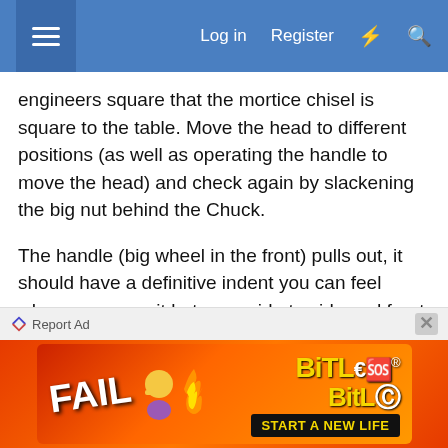☰  Log in  Register  ⚡  🔍
engineers square that the mortice chisel is square to the table. Move the head to different positions (as well as operating the handle to move the head) and check again by slackening the big nut behind the Chuck.
The handle (big wheel in the front) pulls out, it should have a definitive indent you can feel when you move it between side to side and front to back movement. There is a ball bearing pushed by a spring that creates the indent. Can be worn, easy to replace, but it's a cost.
With the head stationary, move the table to all limits and push down on the outer edge of the table and with the engineers square check all positions ...
[Figure (screenshot): BitLife advertisement banner with 'FAIL' text and 'START A NEW LIFE' tagline on a red/orange flaming background]